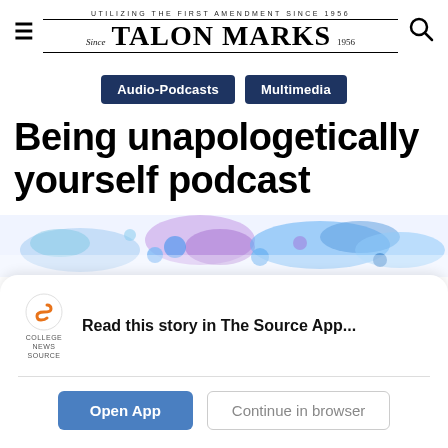TALON MARKS — Utilizing the First Amendment Since 1956
Audio-Podcasts
Multimedia
Being unapologetically yourself podcast
[Figure (illustration): Abstract colorful paint splash background with blue, purple and teal colors]
Read this story in The Source App...
Open App
Continue in browser